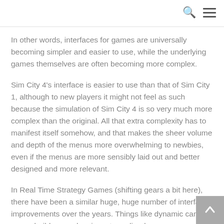In other words, interfaces for games are universally becoming simpler and easier to use, while the underlying games themselves are often becoming more complex.
Sim City 4's interface is easier to use than that of Sim City 1, although to new players it might not feel as such because the simulation of Sim City 4 is so very much more complex than the original. All that extra complexity has to manifest itself somehow, and that makes the sheer volume and depth of the menus more overwhelming to newbies, even if the menus are more sensibly laid out and better designed and more relevant.
In Real Time Strategy Games (shifting gears a bit here), there have been a similar huge, huge number of interface improvements over the years. Things like dynamic camera zoom, build queue looping, streamlined…